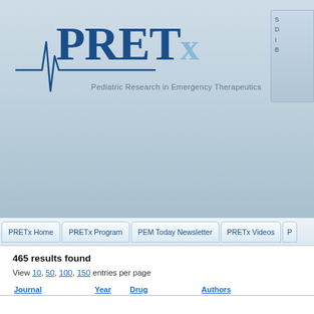[Figure (logo): PRETx logo with ECG heartbeat line and tagline 'Pediatric Research in Emergency Therapeutics']
PRETx Home | PRETx Program | PEM Today Newsletter | PRETx Videos
465 results found
View 10, 50, 100, 150 entries per page
| Journal | Year | Drug | Authors |  |
| --- | --- | --- | --- | --- |
| Arch Dis Child | 2005 | Diazepam | Horrocks IA, Nechay A, Stephenson JB, Zuberi SM | An of... |
| Paediatr Drugs | 2002 | Dexamethasone | Biggart E, Bush A | An... |
| Paediatr Drugs | 2001 | Dalfopristin | Capitano B, Quintiliani R, Nightingale CH, Nicolau DP | An... tre... |
| BMJ | 2002 | Doxycycline | Arroll B, Kenealy T. | An... |